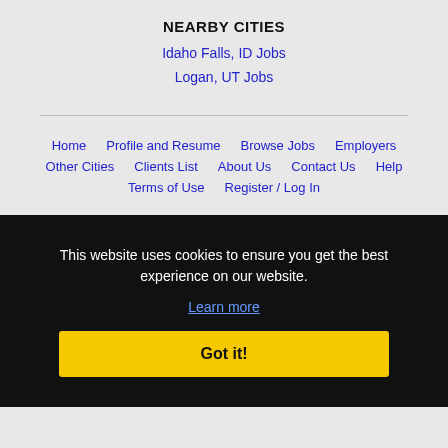NEARBY CITIES
Idaho Falls, ID Jobs
Logan, UT Jobs
Home | Profile and Resume | Browse Jobs | Employers | Other Cities | Clients List | About Us | Contact Us | Help | Terms of Use | Register / Log In
This website uses cookies to ensure you get the best experience on our website. Learn more
Got it!